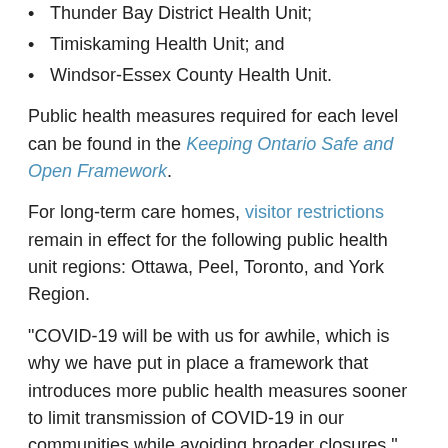Thunder Bay District Health Unit;
Timiskaming Health Unit; and
Windsor-Essex County Health Unit.
Public health measures required for each level can be found in the Keeping Ontario Safe and Open Framework.
For long-term care homes, visitor restrictions remain in effect for the following public health unit regions: Ottawa, Peel, Toronto, and York Region.
“COVID-19 will be with us for awhile, which is why we have put in place a framework that introduces more public health measures sooner to limit transmission of COVID-19 in our communities while avoiding broader closures,” said Christine Elliott, Deputy Premier and Minister of Health. “We are committed to being transparent with Ontarians, businesses and local communities as we work together to keep Ontarians safe, while keeping our